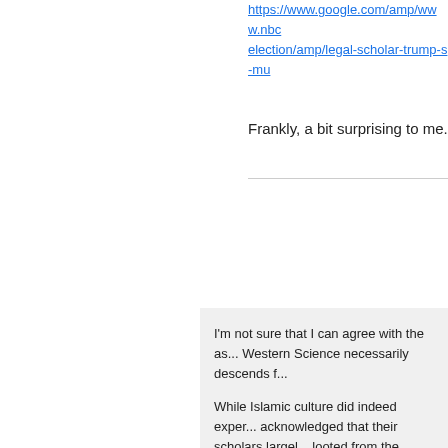https://www.google.com/amp/www.nbc...election/amp/legal-scholar-trump-s-mu...
Frankly, a bit surprising to me.
Pos...
I'm not sure that I can agree with the as... Western Science necessarily descends f...
While Islamic culture did indeed exper... acknowledged that their scholars largel... looted from the corpse of the Roman/B... apart piecemeal over the centuries.
Thus, it's not so much that Western scie... experienced a bit of an Islamic interlud... Western one.